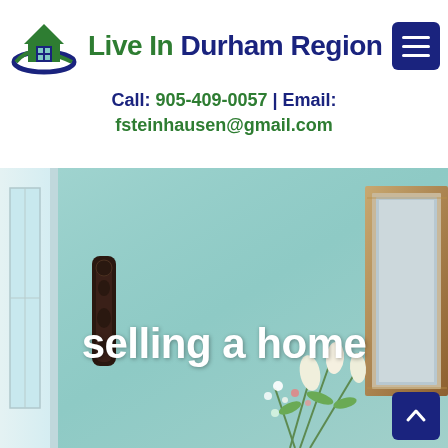[Figure (logo): Live In Durham Region real estate logo with green house icon and blue/green swoosh]
Live In Durham Region
Call: 905-409-0057 | Email: fsteinhausen@gmail.com
[Figure (photo): Interior room photo with teal/blue-green walls, window on left, decorative wall sconce, picture frame on right wall, floral arrangement at bottom right]
selling a home